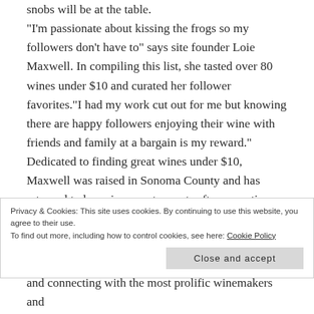snobs will be at the table. “I’m passionate about kissing the frogs so my followers don’t have to” says site founder Loie Maxwell. In compiling this list, she tasted over 80 wines under $10 and curated her follower favorites.“I had my work cut out for me but knowing there are happy followers enjoying their wine with friends and family at a bargain is my reward.” Dedicated to finding great wines under $10, Maxwell was raised in Sonoma County and has returned to her wine country roots after executive roles at Mattel, Target, CVS/pharmacy and Starbucks. She now balances work
Privacy & Cookies: This site uses cookies. By continuing to use this website, you agree to their use.
To find out more, including how to control cookies, see here: Cookie Policy
Close and accept
and connecting with the most prolific winemakers and